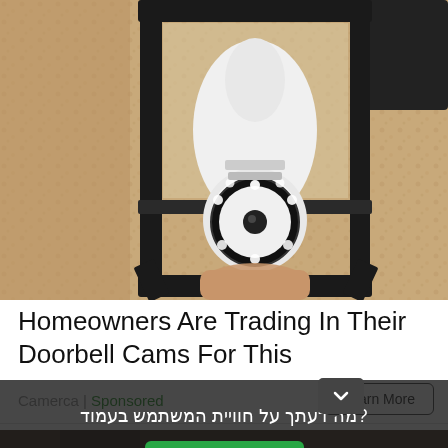[Figure (photo): A security camera shaped like a light bulb installed inside an outdoor lantern-style light fixture mounted on a textured beige stucco wall. A hand is visible holding/installing the device.]
Homeowners Are Trading In Their Doorbell Cams For This
Camerca | Sponsored
Learn More
[Figure (photo): Partially visible bottom image, dark tones, appears to show a person outdoors near brick.]
מה דעתך על חוויית המשתמש בעמוד?
תגובה